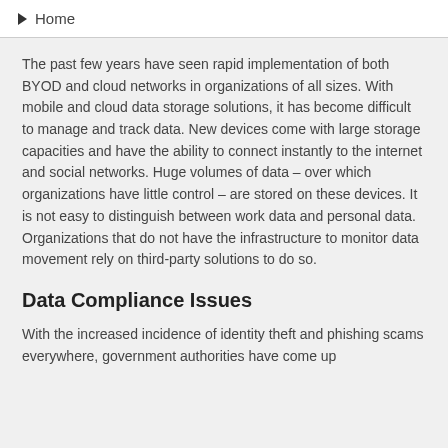Home
The past few years have seen rapid implementation of both BYOD and cloud networks in organizations of all sizes. With mobile and cloud data storage solutions, it has become difficult to manage and track data. New devices come with large storage capacities and have the ability to connect instantly to the internet and social networks. Huge volumes of data – over which organizations have little control – are stored on these devices. It is not easy to distinguish between work data and personal data. Organizations that do not have the infrastructure to monitor data movement rely on third-party solutions to do so.
Data Compliance Issues
With the increased incidence of identity theft and phishing scams everywhere, government authorities have come up